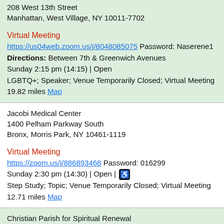208 West 13th Street
Manhattan, West Village, NY 10011-7702
Virtual Meeting
https://us04web.zoom.us/j/8048085075 Password: Naserene1
Directions: Between 7th & Greenwich Avenues
Sunday 2:15 pm (14:15) | Open
LGBTQ+; Speaker; Venue Temporarily Closed; Virtual Meeting
19.82 miles Map
Jacobi Medical Center
1400 Pelham Parkway South
Bronx, Morris Park, NY 10461-1119
Virtual Meeting
https://zoom.us/j/886893468 Password: 016299
Sunday 2:30 pm (14:30) | Open | [wheelchair]
Step Study; Topic; Venue Temporarily Closed; Virtual Meeting
12.71 miles Map
Christian Parish for Spiritual Renewal
2044 7th Avenue
Manhattan, West 120s, NY 10029
Virtual Meeting
https://zoom.us/j/5415095609 Password: 101098